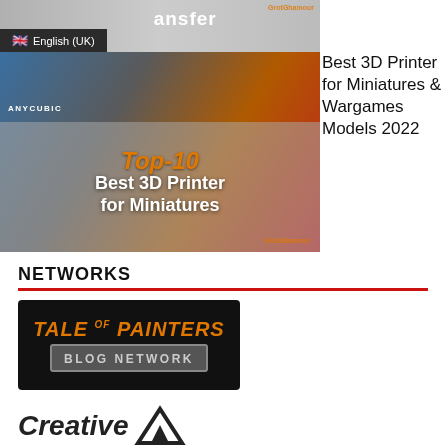[Figure (screenshot): Top portion of a web page showing a banner image with 'transfer' text and English (UK) language selector flag bar, partially visible at the top.]
[Figure (photo): Image of 3D printers (Anycubic and a red resin printer) with miniature models, overlaid with text 'Top-10 Best 3D Printer for Miniatures' in orange and white with a logo watermark.]
Best 3D Printer for Miniatures & Wargames Models 2022
NETWORKS
[Figure (logo): Tale of Painters Blog Network logo — dark background with orange italic text 'TALE OF PAINTERS' and grey plaque with 'BLOG NETWORK'.]
[Figure (logo): Creative logo — large dark italic text 'Creative' with a triangular mountain/arrow graphic.]